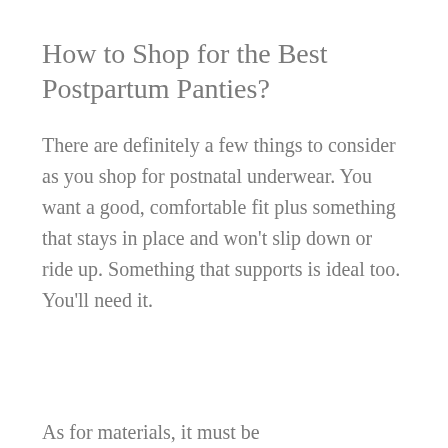How to Shop for the Best Postpartum Panties?
There are definitely a few things to consider as you shop for postnatal underwear. You want a good, comfortable fit plus something that stays in place and won’t slip down or ride up. Something that supports is ideal too. You’ll need it.
As for materials, it must be